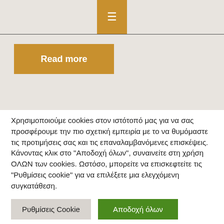[Figure (screenshot): Top navigation area with golden/amber hamburger menu button centered at top, on a beige/tan background. A horizontal divider line runs below the menu button.]
Read more
Χρησιμοποιούμε cookies στον ιστότοπό μας για να σας προσφέρουμε την πιο σχετική εμπειρία με το να θυμόμαστε τις προτιμήσεις σας και τις επαναλαμβανόμενες επισκέψεις. Κάνοντας κλικ στο "Αποδοχή όλων", συναινείτε στη χρήση ΟΛΩΝ των cookies. Ωστόσο, μπορείτε να επισκεφτείτε τις "Ρυθμίσεις cookie" για να επιλέξετε μια ελεγχόμενη συγκατάθεση.
Ρυθμίσεις Cookie
Αποδοχή όλων